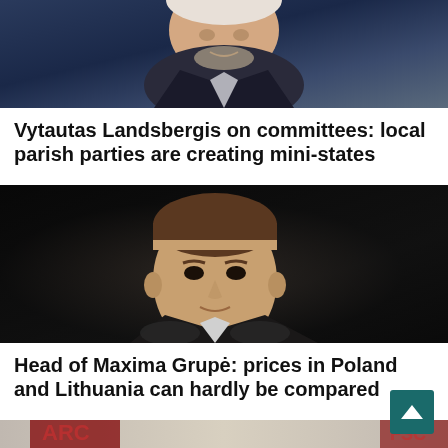[Figure (photo): Older man with white hair and beard, dark jacket, appearing to speak or be photographed at an event — partially cropped at top]
Vytautas Landsbergis on committees: local parish parties are creating mini-states
[Figure (photo): Middle-aged man with short brown hair, dark clothing, photographed against a dark background — appears to be an executive or business figure]
Head of Maxima Grupė: prices in Poland and Lithuania can hardly be compared
[Figure (photo): Man with short dark hair photographed at an event with red/dark banners in background with partial text visible]